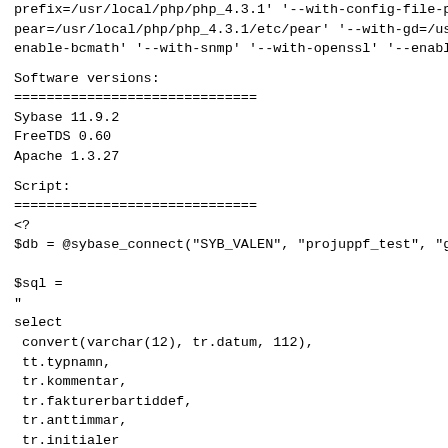prefix=/usr/local/php/php_4.3.1' '--with-config-file-pa
pear=/usr/local/php/php_4.3.1/etc/pear' '--with-gd=/usr.
enable-bcmath' '--with-snmp' '--with-openssl' '--enable
Software versions:
==============================
Sybase 11.9.2
FreeTDS 0.60
Apache 1.3.27
Script:
==============================
<?
$db = @sybase_connect("SYB_VALEN", "projuppf_test", "gla

$sql =
"
select
  convert(varchar(12), tr.datum, 112),
  tt.typnamn,
  tr.kommentar,
  tr.fakturerbartiddef,
  tr.anttimmar,
  tr.initialer
f